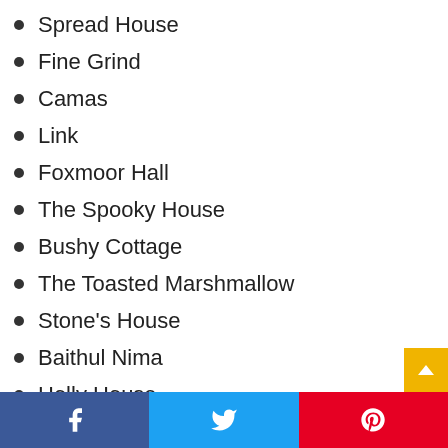Spread House
Fine Grind
Camas
Link
Foxmoor Hall
The Spooky House
Bushy Cottage
The Toasted Marshmallow
Stone's House
Baithul Nima
Holly House
The Whitaker
Jessamine Cottage
Adobe Star